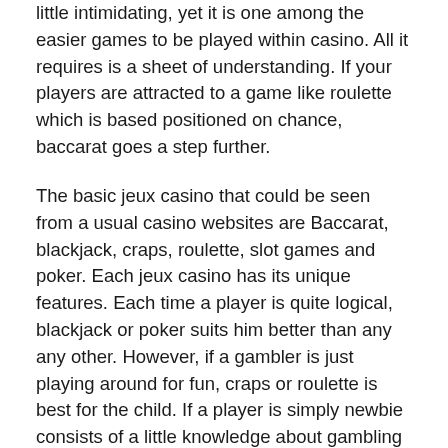little intimidating, yet it is one among the easier games to be played within casino. All it requires is a sheet of understanding. If your players are attracted to a game like roulette which is based positioned on chance, baccarat goes a step further.
The basic jeux casino that could be seen from a usual casino websites are Baccarat, blackjack, craps, roulette, slot games and poker. Each jeux casino has its unique features. Each time a player is quite logical, blackjack or poker suits him better than any any other. However, if a gambler is just playing around for fun, craps or roulette is best for the child. If a player is simply newbie consists of a little knowledge about gambling then slot games are for him. Each game varies depends on the person's personal taste. Each game has its own level of difficulties and skills. Green house right casino en ligne game is like doing a trial and error method. Whether it doesn't work, then research